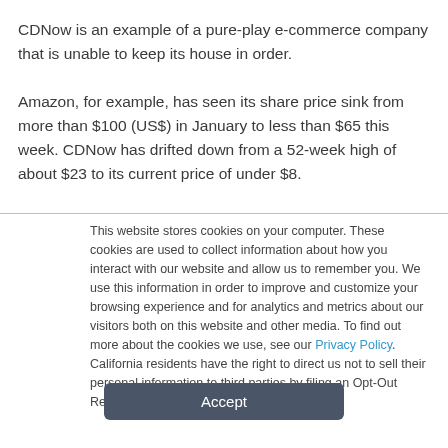CDNow is an example of a pure-play e-commerce company that is unable to keep its house in order.

Amazon, for example, has seen its share price sink from more than $100 (US$) in January to less than $65 this week. CDNow has drifted down from a 52-week high of about $23 to its current price of under $8.
This website stores cookies on your computer. These cookies are used to collect information about how you interact with our website and allow us to remember you. We use this information in order to improve and customize your browsing experience and for analytics and metrics about our visitors both on this website and other media. To find out more about the cookies we use, see our Privacy Policy. California residents have the right to direct us not to sell their personal information to third parties by filing an Opt-Out Request: Do Not Sell My Personal Info.